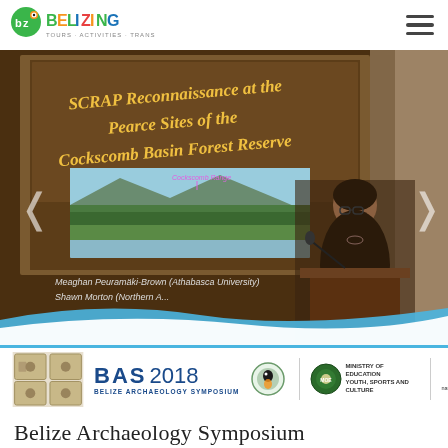BELIZING — TOURS · ACTIVITIES · TRANSPORTATION
[Figure (photo): Conference presentation photo showing a speaker at a podium with a projected slide titled 'SCRAP Reconnaissance at the Pearce Sites of the Cockscomb Basin Forest Reserve' by Meaghan Peuramäki-Brown (Athabasca University) and Shawn Morton (Northern A...). The slide includes a landscape photograph labeled 'Cockscomb Range'.]
[Figure (logo): BAS 2018 Belize Archaeology Symposium banner with Mayan glyphs, toucan icon, Ministry of Education Youth Sports and Culture emblem, and NICH (National Institute of Culture and Heritage) logo]
Belize Archaeology Symposium